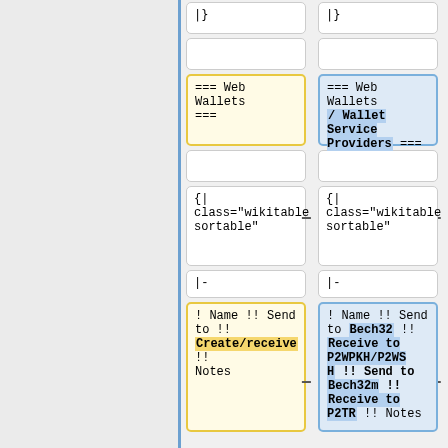|}
|}
(empty cell)
(empty cell)
=== Web Wallets ===
=== Web Wallets / Wallet Service Providers ===
(empty cell)
(empty cell)
{|
class="wikitable
sortable"
{|
class="wikitable
sortable"
|-
|-
! Name !! Send to !! Create/receive !! Notes
! Name !! Send to !! Bech32 !! Receive to P2WPKH/P2WSH !! Send to Bech32m !! Receive to P2TR !! Notes